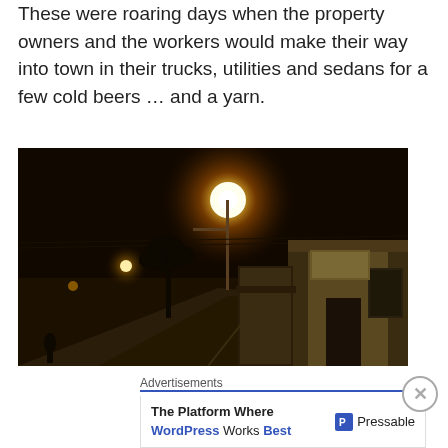These were roaring days when the property owners and the workers would make their way into town in their trucks, utilities and sedans for a few cold beers … and a yarn.
[Figure (photo): Night-time street scene of a small Australian country town. A bright street lamp flares in the upper centre, illuminating a quiet intersection with low commercial buildings on the right side. The scene is dark overall with warm amber tones from the lamp lighting the road and shopfronts.]
Advertisements
[Figure (other): Advertisement for Pressable: 'The Platform Where WordPress Works Best' with Pressable logo on right side.]